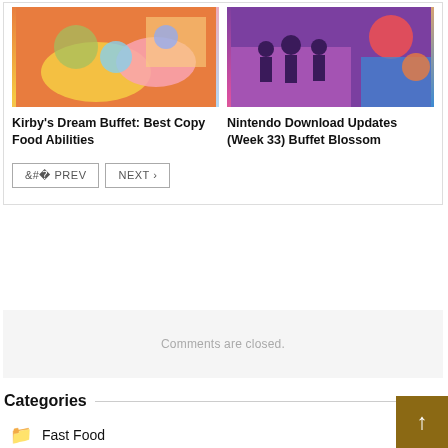[Figure (photo): Kirby's Dream Buffet collage: colorful food items with Kirby characters on citrus slices and pink background]
Kirby's Dream Buffet: Best Copy Food Abilities
[Figure (photo): Nintendo Download Updates (Week 33) collage: silhouettes on purple background, colorful game characters]
Nintendo Download Updates (Week 33) Buffet Blossom
< PREV
NEXT >
Comments are closed.
Categories
Fast Food